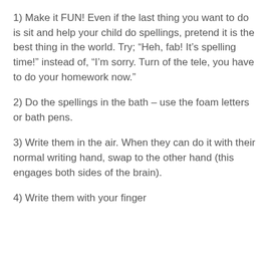1) Make it FUN! Even if the last thing you want to do is sit and help your child do spellings, pretend it is the best thing in the world. Try; “Heh, fab! It’s spelling time!” instead of, “I’m sorry. Turn of the tele, you have to do your homework now.”
2) Do the spellings in the bath – use the foam letters or bath pens.
3) Write them in the air. When they can do it with their normal writing hand, swap to the other hand (this engages both sides of the brain).
4) Write them with your finger...